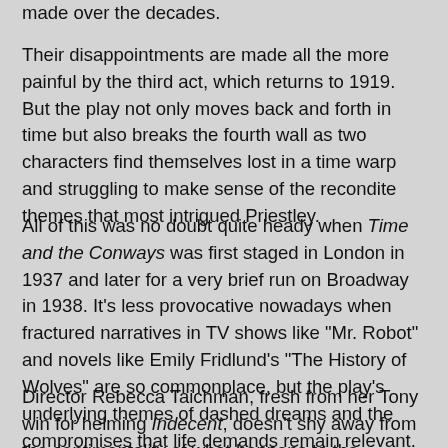made over the decades.
Their disappointments are made all the more painful by the third act, which returns to 1919. But the play not only moves back and forth in time but also breaks the fourth wall as two characters find themselves lost in a time warp and struggling to make sense of the recondite themes that most intrigued Priestley.
All of this was no doubt quite heady when Time and the Conways was first staged in London in 1937 and later for a very brief run on Broadway in 1938. It's less provocative nowadays when fractured narratives in TV shows like "Mr. Robot" and novels like Emily Fridlund's "The History of Wolves" are so commonplace, but the play's underlying themes of dashed dreams and the compromises that life demands remain relevant.
Director Rebecca Taichman, fresh from her Tony win for helming Indecent, doesn't shy away from the sentimentality of what happens to the Conways but she and—accents aside, her to flit—at times, her to discern, or just